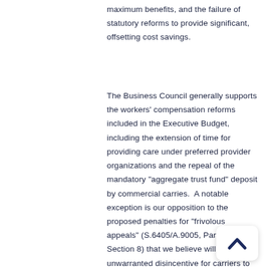maximum benefits, and the failure of statutory reforms to provide significant, offsetting cost savings.
The Business Council generally supports the workers' compensation reforms included in the Executive Budget, including the extension of time for providing care under preferred provider organizations and the repeal of the mandatory "aggregate trust fund" deposit by commercial carries.  A notable exception is our opposition to the proposed penalties for "frivolous appeals" (S.6405/A.9005, Part G, Section 8) that we believe will pose an unwarranted disincentive for carriers to challenge legitimate claims issues. However, this package fails to address our priority comp reform issue – assuring the effective application of permanent partial